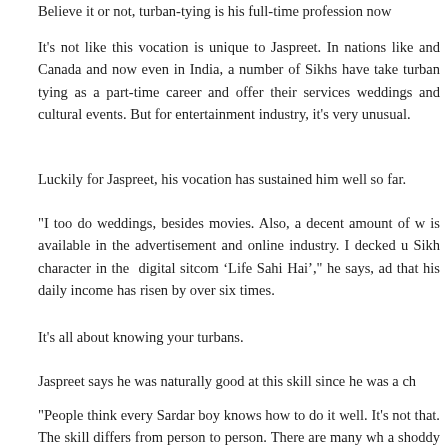Believe it or not, turban-tying is his full-time profession now
It's not like this vocation is unique to Jaspreet. In nations like and Canada and now even in India, a number of Sikhs have taken turban tying as a part-time career and offer their services weddings and cultural events. But for entertainment industry, it's very unusual.
Luckily for Jaspreet, his vocation has sustained him well so far.
"I too do weddings, besides movies. Also, a decent amount of w is available in the advertisement and online industry. I decked u Sikh character in the digital sitcom ‘Life Sahi Hai’," he says, ad that his daily income has risen by over six times.
It's all about knowing your turbans.
Jaspreet says he was naturally good at this skill since he was a ch
"People think every Sardar boy knows how to do it well. It's not that. The skill differs from person to person. There are many wh a shoddy job of it," he says.